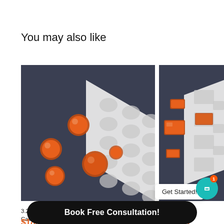You may also like
[Figure (photo): Photo of orange round candy/gem pieces scattered next to a white polycarbonate mold tray with circular cavities, on a dark slate background.]
[Figure (photo): Photo of orange rectangular candy/gem pieces next to a white polycarbonate mold tray with rectangular cavities, on a dark slate background. Partially visible.]
3.25mL Round Candy Deposit Mold - Plain - 143 Cavities - SBP21...
Sand...  -
$189.99
$189.99
Get Started!
Book Free Consultation!